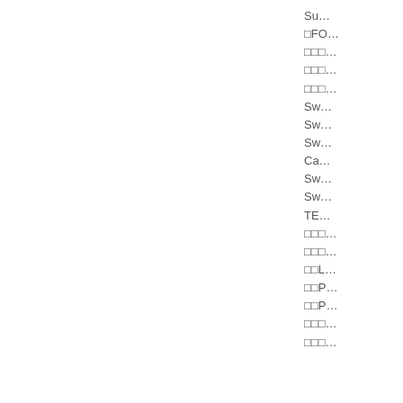Su…
�FO…
���…
���…
���…
Sw…
Sw…
Sw…
Ca…
Sw…
Sw…
TE…
���…
���…
��L…
��P…
��P…
���…
���…